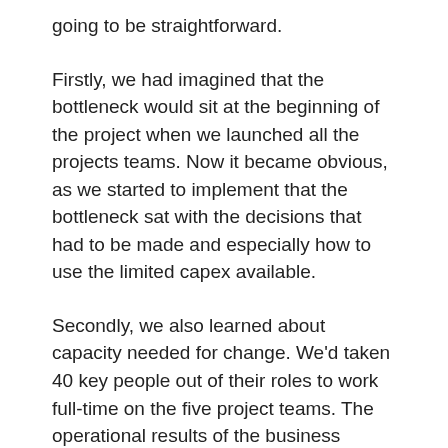going to be straightforward.
Firstly, we had imagined that the bottleneck would sit at the beginning of the project when we launched all the projects teams. Now it became obvious, as we started to implement that the bottleneck sat with the decisions that had to be made and especially how to use the limited capex available.
Secondly, we also learned about capacity needed for change. We'd taken 40 key people out of their roles to work full-time on the five project teams. The operational results of the business began to suffer without these key people in place. We were spreading our resources too thinly.
Thirdly, there was a growing list of decisions to be made by the leadership team. For example, there were new job